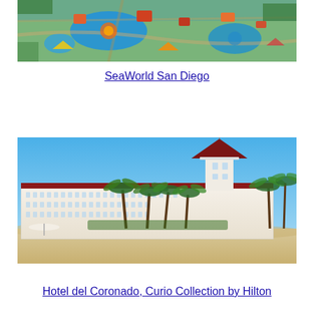[Figure (photo): Aerial view of SeaWorld San Diego theme park showing water rides, colorful attractions, and park grounds from above]
SeaWorld San Diego
[Figure (photo): Photo of Hotel del Coronado showing the iconic red-roofed Victorian building with palm trees in the foreground and a sandy beach, taken on a clear blue-sky day]
Hotel del Coronado, Curio Collection by Hilton